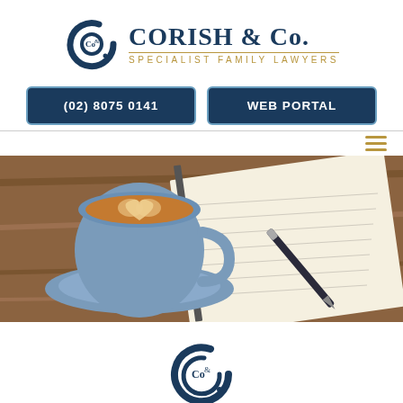[Figure (logo): Corish & Co. Specialist Family Lawyers logo with circular C icon]
(02) 8075 0141
WEB PORTAL
[Figure (photo): Coffee cup with latte art heart on a saucer next to an open notebook and pen on a wooden table]
[Figure (logo): Corish & Co. circular C icon logo mark]